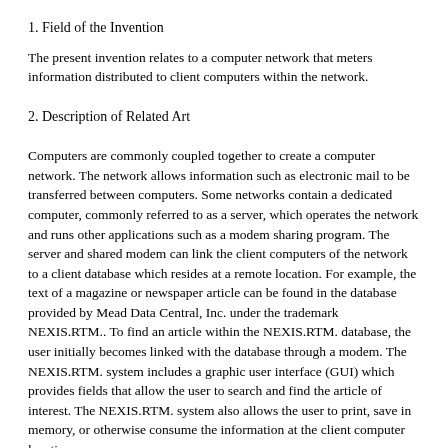1. Field of the Invention
The present invention relates to a computer network that meters information distributed to client computers within the network.
2. Description of Related Art
Computers are commonly coupled together to create a computer network. The network allows information such as electronic mail to be transferred between computers. Some networks contain a dedicated computer, commonly referred to as a server, which operates the network and runs other applications such as a modem sharing program. The server and shared modem can link the client computers of the network to a client database which resides at a remote location. For example, the text of a magazine or newspaper article can be found in the database provided by Mead Data Central, Inc. under the trademark NEXIS.RTM.. To find an article within the NEXIS.RTM. database, the user initially becomes linked with the database through a modem. The NEXIS.RTM. system includes a graphic user interface (GUI) which provides fields that allow the user to search and find the article of interest. The NEXIS.RTM. system also allows the user to print, save in memory, or otherwise consume the information at the client computer location.